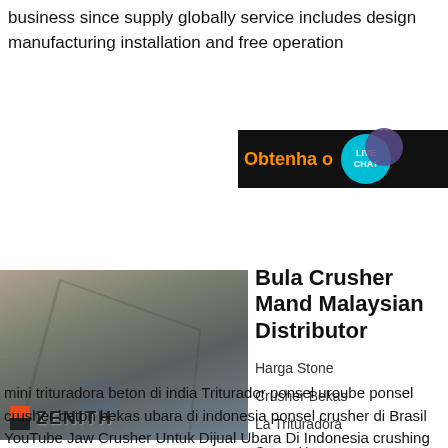business since supply globally service includes design manufacturing installation and free operation
[Figure (infographic): Live chat button with orange text 'Obtenha o' on black background, with teal chat bubble icon showing 'LIVE CHAT' and purple circle decoration]
[Figure (photo): Industrial mining/crushing site with machinery, conveyor belts, and crane structures. Zenith brand logo visible at bottom left of image.]
Bula Crusher Mand Malaysian Distributor
Harga Stone
Crusher Bekas
La Trituradora
Casey Harga
mini trituradora beton di india Triturador ponsel uroube ponsel crusher beton bekas ubara di indonesia ponsel crusher di Brasil YouTube Jaw Crusher Untuk Dijual Ubara Di Indonesia crushing